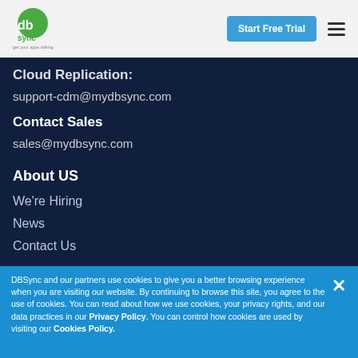[Figure (logo): DBSync logo — green circular db icon with 'sync' text below and tagline 'get your apps talking']
Start Free Trial
Cloud Replication:
support-cdm@mydbsync.com
Contact Sales
sales@mydbsync.com
About US
We're Hiring
News
Contact Us
DBSync and our partners use cookies to give you a better browsing experience when you are visiting our website. By continuing to browse this site, you agree to the use of cookies. You can read about how we use cookies, your privacy rights, and our data practices in our Privacy Policy. You can control how cookies are used by visiting our Cookies Policy.